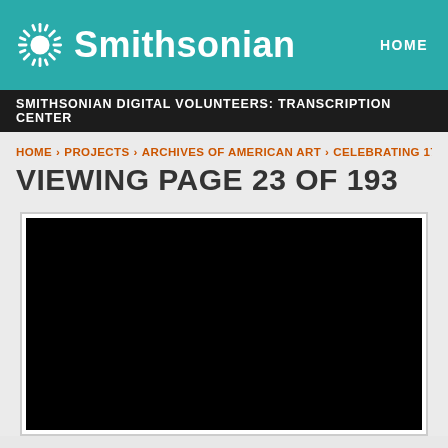Smithsonian  HOME
SMITHSONIAN DIGITAL VOLUNTEERS: TRANSCRIPTION CENTER
HOME > PROJECTS > ARCHIVES OF AMERICAN ART > CELEBRATING 175
VIEWING PAGE 23 OF 193
[Figure (photo): Black rectangular image viewer area showing a scanned document page (content not visible due to dark rendering)]